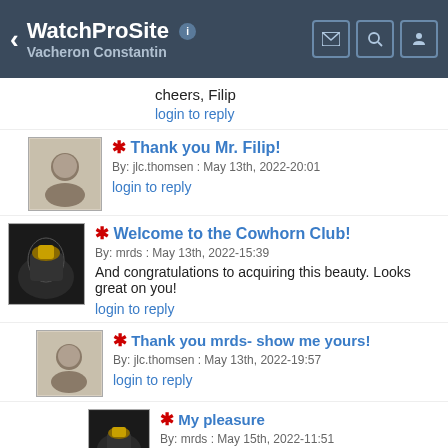WatchProSite — Vacheron Constantin
cheers, Filip
login to reply
* Thank you Mr. Filip!
By: jlc.thomsen : May 13th, 2022-20:01
login to reply
* Welcome to the Cowhorn Club!
By: mrds : May 13th, 2022-15:39
And congratulations to acquiring this beauty. Looks great on you!
login to reply
* Thank you mrds- show me yours!
By: jlc.thomsen : May 13th, 2022-19:57
login to reply
* My pleasure
By: mrds : May 15th, 2022-11:51
...
login to reply